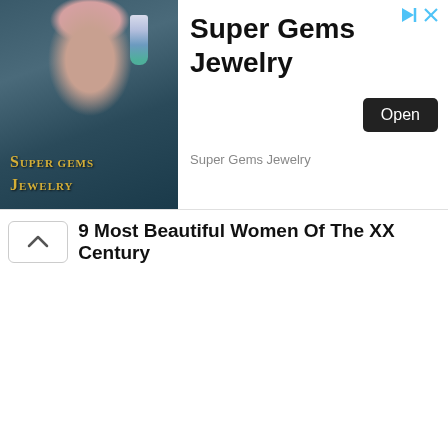[Figure (photo): Advertisement banner for Super Gems Jewelry showing a woman wearing large teardrop diamond and turquoise earrings against a dark background, with Super Gems Jewelry logo overlay in gold text]
Super Gems Jewelry
Super Gems Jewelry
Open
9 Most Beautiful Women Of The XX Century